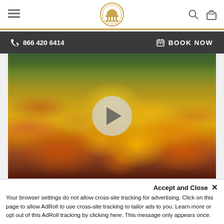≡  [Logo]  🔍 🛍
📞 866 420 6414    📅 BOOK NOW
[Figure (photo): Video thumbnail showing a field of yellow California poppies with a semi-transparent play button overlay in the center]
Louie Schwartzberg Speaker Series – Part 3
Accept and Close ✕
Your browser settings do not allow cross-site tracking for advertising. Click on this page to allow AdRoll to use cross-site tracking to tailor ads to you. Learn more or opt out of this AdRoll tracking by clicking here. This message only appears once.